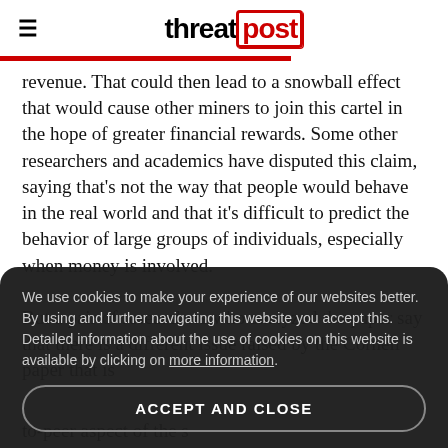threatpost
revenue. That could then lead to a snowball effect that would cause other miners to join this cartel in the hope of greater financial rewards. Some other researchers and academics have disputed this claim, saying that’s not the way that people would behave in the real world and that it’s difficult to predict the behavior of large groups of individuals, especially when money is involved.

But a pair of researchers who analyzed the paper say that there is a different issue raised by the Cornell paper that is
We use cookies to make your experience of our websites better. By using and further navigating this website you accept this. Detailed information about the use of cookies on this website is available by clicking on more information.
ACCEPT AND CLOSE
to-peer aspect of the s